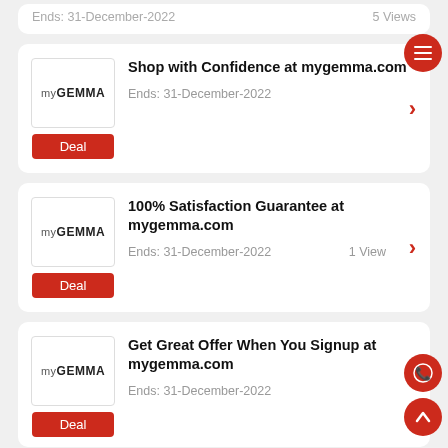Ends: 31-December-2022    5 Views
[Figure (screenshot): myGEMMA logo with Deal button]
Shop with Confidence at mygemma.com
Ends: 31-December-2022
[Figure (screenshot): myGEMMA logo with Deal button]
100% Satisfaction Guarantee at mygemma.com
Ends: 31-December-2022    1 View
[Figure (screenshot): myGEMMA logo with Deal button]
Get Great Offer When You Signup at mygemma.com
Ends: 31-December-2022